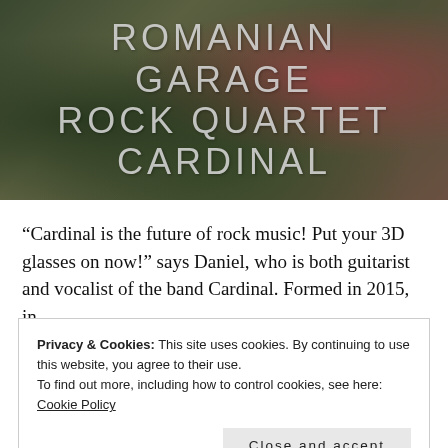[Figure (photo): Band photo with dark green and earthy tones background showing members of Cardinal. Large overlaid text reads 'ROMANIAN GARAGE ROCK QUARTET CARDINAL' in light grey uppercase letters.]
“Cardinal is the future of rock music! Put your 3D glasses on now!” says Daniel, who is both guitarist and vocalist of the band Cardinal. Formed in 2015, in
Privacy & Cookies: This site uses cookies. By continuing to use this website, you agree to their use.
To find out more, including how to control cookies, see here:
Cookie Policy
Close and accept